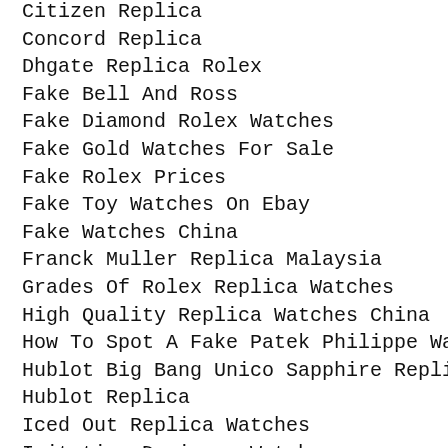Citizen Replica
Concord Replica
Dhgate Replica Rolex
Fake Bell And Ross
Fake Diamond Rolex Watches
Fake Gold Watches For Sale
Fake Rolex Prices
Fake Toy Watches On Ebay
Fake Watches China
Franck Muller Replica Malaysia
Grades Of Rolex Replica Watches
High Quality Replica Watches China
How To Spot A Fake Patek Philippe Watch
Hublot Big Bang Unico Sapphire Replica
Hublot Replica
Iced Out Replica Watches
Imitation Designer Watch
IWC Portuguese Chrono Replica
IWC Replica